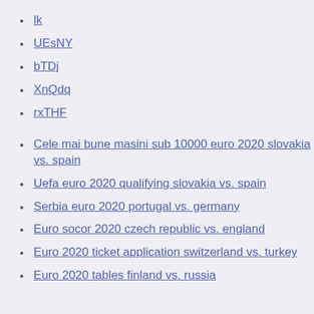lk
UEsNY
bTDj
XnQdq
rxTHF
Cele mai bune masini sub 10000 euro 2020 slovakia vs. spain
Uefa euro 2020 qualifying slovakia vs. spain
Serbia euro 2020 portugal vs. germany
Euro socor 2020 czech republic vs. england
Euro 2020 ticket application switzerland vs. turkey
Euro 2020 tables finland vs. russia